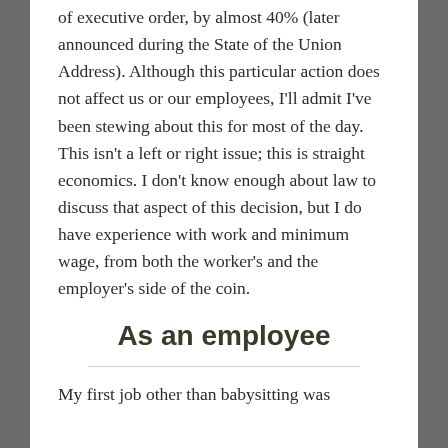of executive order, by almost 40% (later announced during the State of the Union Address). Although this particular action does not affect us or our employees, I'll admit I've been stewing about this for most of the day. This isn't a left or right issue; this is straight economics. I don't know enough about law to discuss that aspect of this decision, but I do have experience with work and minimum wage, from both the worker's and the employer's side of the coin.
As an employee
My first job other than babysitting was